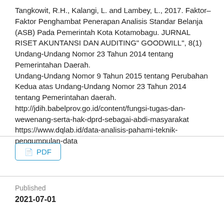Tangkowit, R.H., Kalangi, L. and Lambey, L., 2017. Faktor–Faktor Penghambat Penerapan Analisis Standar Belanja (ASB) Pada Pemerintah Kota Kotamobagu. JURNAL RISET AKUNTANSI DAN AUDITING" GOODWILL", 8(1)
Undang-Undang Nomor 23 Tahun 2014 tentang Pemerintahan Daerah.
Undang-Undang Nomor 9 Tahun 2015 tentang Perubahan Kedua atas Undang-Undang Nomor 23 Tahun 2014 tentang Pemerintahan daerah.
http://jdih.babelprov.go.id/content/fungsi-tugas-dan-wewenang-serta-hak-dprd-sebagai-abdi-masyarakat
https://www.dqlab.id/data-analisis-pahami-teknik-pengumpulan-data
PDF
Published
2021-07-01